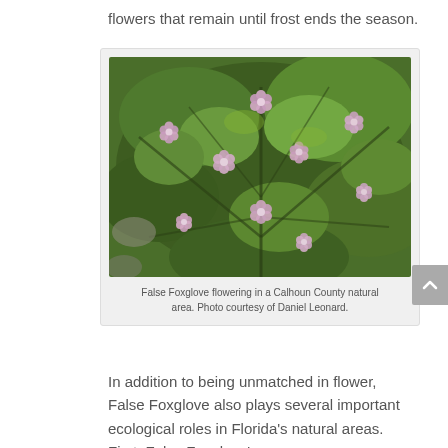flowers that remain until frost ends the season.
[Figure (photo): Aerial view of False Foxglove plant with small pink/lavender flowers amid dense green feathery foliage in a natural area.]
False Foxglove flowering in a Calhoun County natural area. Photo courtesy of Daniel Leonard.
In addition to being unmatched in flower, False Foxglove also plays several important ecological roles in Florida's natural areas.  First, False Foxglove's